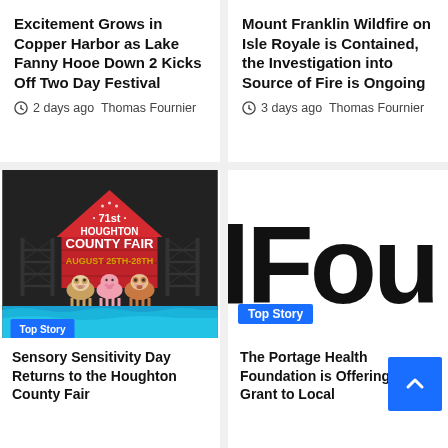Excitement Grows in Copper Harbor as Lake Fanny Hooe Down 2 Kicks Off Two Day Festival
2 days ago  Thomas Fournier
Mount Franklin Wildfire on Isle Royale is Contained, the Investigation into Source of Fire is Ongoing
3 days ago  Thomas Fournier
[Figure (illustration): 71st Houghton County Fair poster on dark background with red barn shape, cartoon animals, and text 'August 25th-28th'. Top Story badge.]
Sensory Sensitivity Day Returns to the Houghton County Fair
[Figure (illustration): Blurred close-up text 'lFou' in large bold black letters on white background, with Top Story badge.]
The Portage Health Foundation is Offering AED's Grant to Local